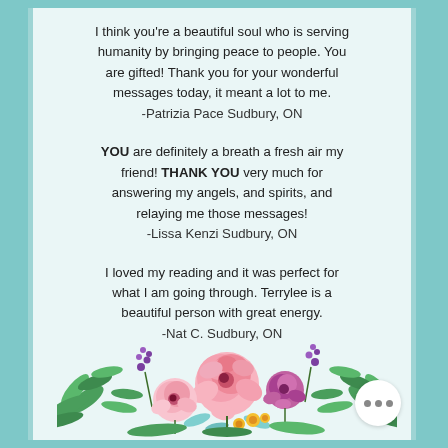I think you're a beautiful soul who is serving humanity by bringing peace to people. You are gifted! Thank you for your wonderful messages today, it meant a lot to me. -Patrizia Pace Sudbury, ON
YOU are definitely a breath a fresh air my friend! THANK YOU very much for answering my angels, and spirits, and relaying me those messages! -Lissa Kenzi Sudbury, ON
I loved my reading and it was perfect for what I am going through. Terrylee is a beautiful person with great energy. -Nat C. Sudbury, ON
[Figure (illustration): Decorative floral arrangement with pink roses, purple flowers, green leaves and small yellow flowers at the bottom of the card]